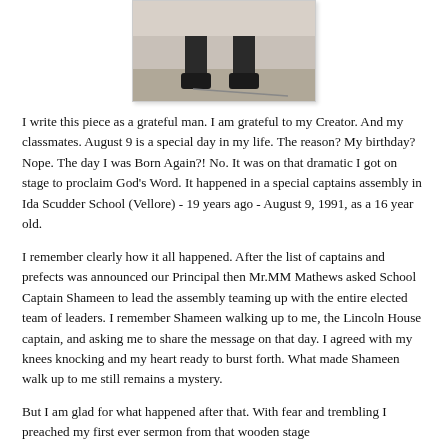[Figure (photo): Black and white photo showing lower legs and feet of a person standing on a wooden floor, partial view from knees down]
I write this piece as a grateful man. I am grateful to my Creator. And my classmates. August 9 is a special day in my life. The reason? My birthday? Nope. The day I was Born Again?! No. It was on that dramatic I got on stage to proclaim God's Word. It happened in a special captains assembly in Ida Scudder School (Vellore) - 19 years ago - August 9, 1991, as a 16 year old.
I remember clearly how it all happened. After the list of captains and prefects was announced our Principal then Mr.MM Mathews asked School Captain Shameen to lead the assembly teaming up with the entire elected team of leaders. I remember Shameen walking up to me, the Lincoln House captain, and asking me to share the message on that day. I agreed with my knees knocking and my heart ready to burst forth. What made Shameen walk up to me still remains a mystery.
But I am glad for what happened after that. With fear and trembling I preached my first ever sermon from that wooden stage